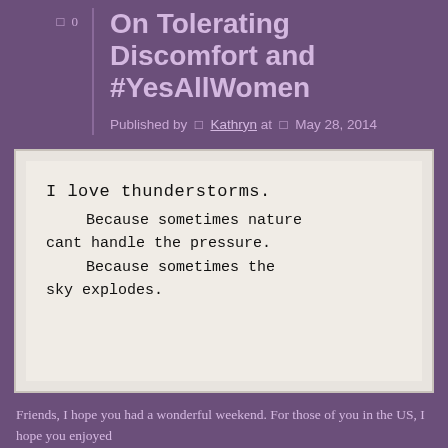On Tolerating Discomfort and #YesAllWomen
Published by  □  Kathryn at  □  May 28, 2014
[Figure (photo): Typewriter-text image reading: I love thunderstorms. Because sometimes nature cant handle the pressure. Because sometimes the sky explodes.]
Friends, I hope you had a wonderful weekend. For those of you in the US, I hope you enjoyed